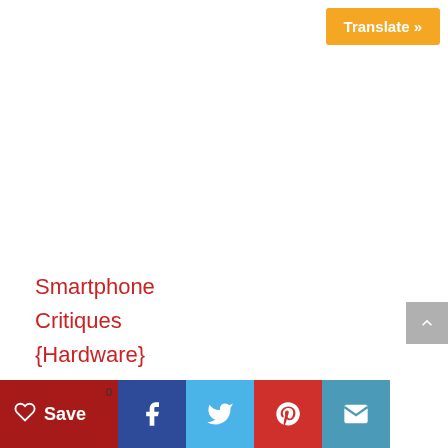Translate »
Smartphone
Critiques
{Hardware}
Sony
Sony Xperia Professional-I
[Figure (screenshot): Social share bar with Save (heart icon), Facebook, Twitter, Pinterest, and Email buttons. Save button is dark red with a count of 0, others are blue/teal shades.]